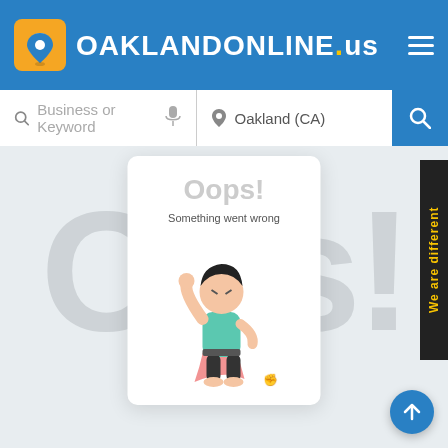[Figure (screenshot): OaklandOnline.us website header with blue background, location pin logo icon, site name, and hamburger menu icon]
[Figure (screenshot): Search bar with Business or Keyword field, microphone icon, Oakland (CA) location field, and blue search button]
[Figure (screenshot): Error page main area with large faded 'Oos!' background text, a white card showing 'Oops! Something went wrong' with a superhero boy illustration, a 'We are different' side banner, and a scroll-to-top floating button]